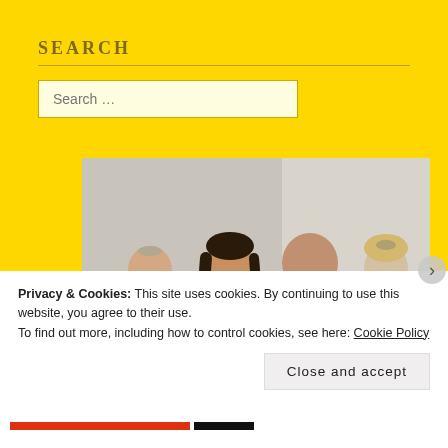SEARCH
Search …
[Figure (photo): Wedding photo showing a couple and two young girls in silver flower girl dresses, sitting at a table. The man is bald and wearing a dark suit with white boutonniere and dark tie. The woman has dark hair and is wearing white. The two girls have flowers in their hair.]
Privacy & Cookies: This site uses cookies. By continuing to use this website, you agree to their use.
To find out more, including how to control cookies, see here: Cookie Policy
Close and accept